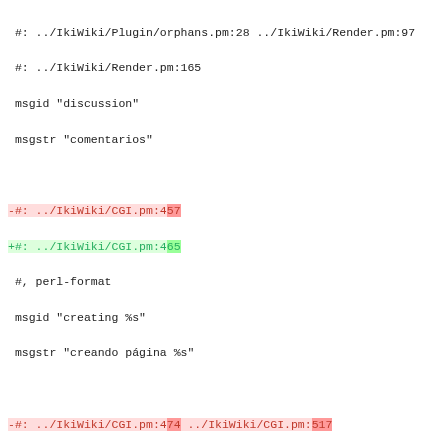#: ../IkiWiki/Plugin/orphans.pm:28 ../IkiWiki/Render.pm:97
 #: ../IkiWiki/Render.pm:165
 msgid "discussion"
 msgstr "comentarios"

-#: ../IkiWiki/CGI.pm:457
+#: ../IkiWiki/CGI.pm:465
 #, perl-format
 msgid "creating %s"
 msgstr "creando página %s"

-#: ../IkiWiki/CGI.pm:474 ../IkiWiki/CGI.pm:517
+#: ../IkiWiki/CGI.pm:482 ../IkiWiki/CGI.pm:510 ../IkiWiki/C
 #, perl-format
 msgid "editing %s"
 msgstr "modificando página %s"

-#: ../IkiWiki/CGI.pm:625
+#: ../IkiWiki/CGI.pm:651
 msgid "You are banned."
 msgstr "Ha sido expulsado."

-#: ../IkiWiki/CGI.pm:657
+#: ../IkiWiki/CGI.pm:683
 msgid "login failed, perhaps you need to turn on cookies?"
 msgstr ""
+"registro fallido, ¿ tal vez es necesario activar las cooki
+"navegador ?"

 #: ../IkiWiki/Plugin/aggregate.pm:61
 #, perl-format
 msgid "aggregate plugin missing %s parameter"